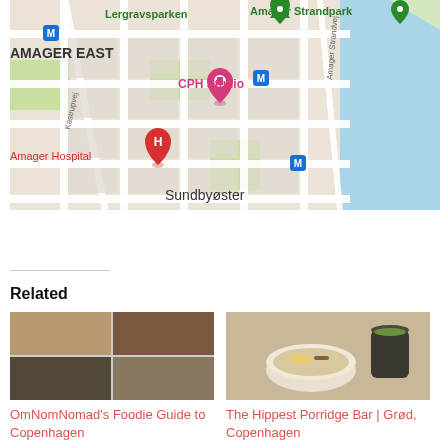[Figure (map): Google Maps screenshot showing Amager East area in Copenhagen, Denmark. Shows street grid with labels: Lergravsparken, Amager Strandpark, AMAGER EAST, CPH Studio (pink pin), Amager Hospital (red H pin), Sundbyøster, Kastrupvej, Amager Strandvej. Blue M markers for metro stations.]
Related
[Figure (photo): Collage of four food photos showing various dishes for OmNomNomad's Foodie Guide to Copenhagen]
OmNomNomad's Foodie Guide to Copenhagen
[Figure (photo): Photo of a bowl of porridge with toppings and a dark cup of green drink, for The Hippest Porridge Bar | Grød, Copenhagen]
The Hippest Porridge Bar | Grød, Copenhagen